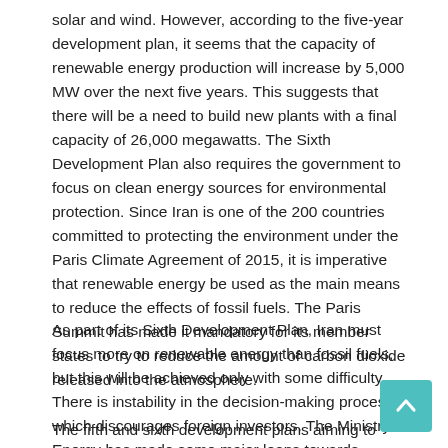solar and wind. However, according to the five-year development plan, it seems that the capacity of renewable energy production will increase by 5,000 MW over the next five years. This suggests that there will be a need to build new plants with a final capacity of 26,000 megawatts. The Sixth Development Plan also requires the government to focus on clean energy sources for environmental protection. Since Iran is one of the 200 countries committed to protecting the environment under the Paris Climate Agreement of 2015, it is imperative that renewable energy be used as the main means to reduce the effects of fossil fuels. The Paris Summit has made it mandatory for its member states to try to reduce the amount of carbon dioxide released into the atmosphere.
As part of its Sixth Development Plan, Iran must focus more on renewable energy than fossil fuels, but this will be achieved only with some difficulty. There is instability in the decision-making process, which discourages foreign investors. The Ministry of Energy has made some major leaps towards increasing the country's share of renewable energy by facilitating changes to investment law, such as introducing guarantees that allow the sale of renewable energy projects for the next 20 years.
The fifth and sixth development plans aiming to build 10,000 MW f...